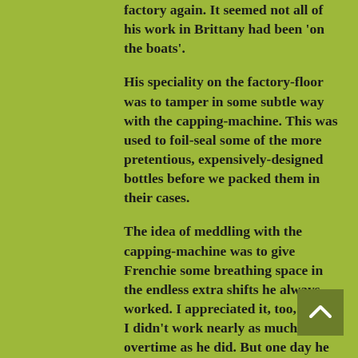factory again. It seemed not all of his work in Brittany had been 'on the boats'.
His speciality on the factory-floor was to tamper in some subtle way with the capping-machine. This was used to foil-seal some of the more pretentious, expensively-designed bottles before we packed them in their cases.
The idea of meddling with the capping-machine was to give Frenchie some breathing space in the endless extra shifts he always worked. I appreciated it, too, though I didn't work nearly as much overtime as he did. But one day he went too far with his interference.